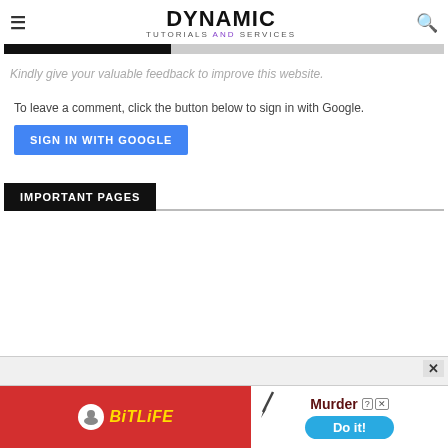DYNAMIC TUTORIALS AND SERVICES
Kindly give your valuable feedback to improve this website.
To leave a comment, click the button below to sign in with Google.
SIGN IN WITH GOOGLE
IMPORTANT PAGES
[Figure (other): BitLife advertisement banner with 'Murder Do it!' text]